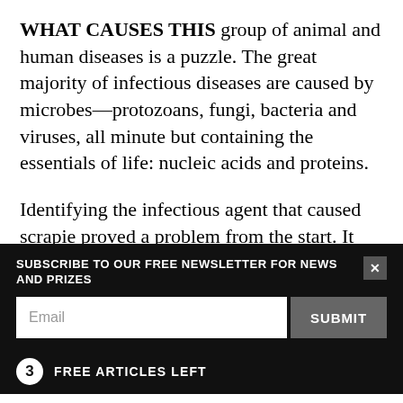WHAT CAUSES THIS group of animal and human diseases is a puzzle. The great majority of infectious diseases are caused by microbes—protozoans, fungi, bacteria and viruses, all minute but containing the essentials of life: nucleic acids and proteins.
Identifying the infectious agent that caused scrapie proved a problem from the start. It was resistant to ultraviolet radiation, radioactivity, heat, formaldehyde, and enzymes that destroy most proteins and nucleic acids—collectively, agents that kill all life forms.
SUBSCRIBE TO OUR FREE NEWSLETTER FOR NEWS AND PRIZES
3 FREE ARTICLES LEFT